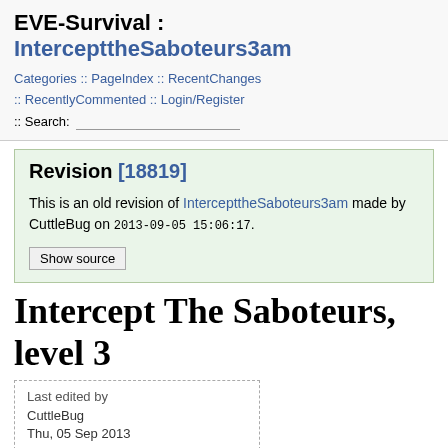EVE-Survival : IntercepttheSaboteurs3am
Categories :: PageIndex :: RecentChanges :: RecentlyCommented :: Login/Register
:: Search:
Revision [18819]
This is an old revision of IntercepttheSaboteurs3am made by CuttleBug on 2013-09-05 15:06:17.
Show source
Intercept The Saboteurs, level 3
Last edited by
CuttleBug
Thu, 05 Sep 2013